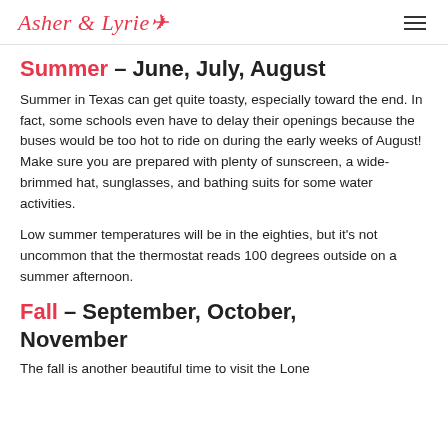Asher & Lyrie✈
Summer – June, July, August
Summer in Texas can get quite toasty, especially toward the end. In fact, some schools even have to delay their openings because the buses would be too hot to ride on during the early weeks of August! Make sure you are prepared with plenty of sunscreen, a wide-brimmed hat, sunglasses, and bathing suits for some water activities.
Low summer temperatures will be in the eighties, but it's not uncommon that the thermostat reads 100 degrees outside on a summer afternoon.
Fall – September, October, November
The fall is another beautiful time to visit the Lone